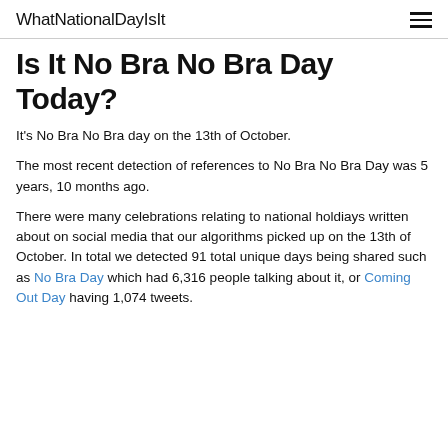WhatNationalDayIsIt
Is It No Bra No Bra Day Today?
It's No Bra No Bra day on the 13th of October.
The most recent detection of references to No Bra No Bra Day was 5 years, 10 months ago.
There were many celebrations relating to national holdiays written about on social media that our algorithms picked up on the 13th of October. In total we detected 91 total unique days being shared such as No Bra Day which had 6,316 people talking about it, or Coming Out Day having 1,074 tweets.